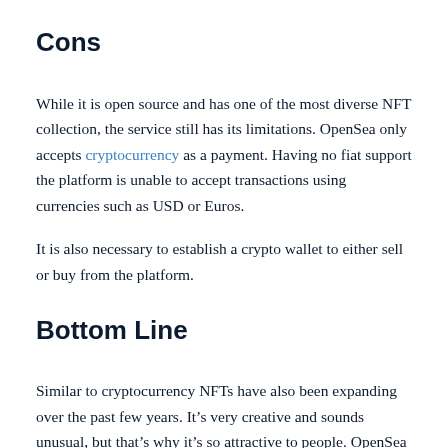Cons
While it is open source and has one of the most diverse NFT collection, the service still has its limitations. OpenSea only accepts cryptocurrency as a payment. Having no fiat support the platform is unable to accept transactions using currencies such as USD or Euros.
It is also necessary to establish a crypto wallet to either sell or buy from the platform.
Bottom Line
Similar to cryptocurrency NFTs have also been expanding over the past few years. It’s very creative and sounds unusual, but that’s why it’s so attractive to people. OpenSea provides an NFT marketplace that can cater to a wide range of NFTs. The